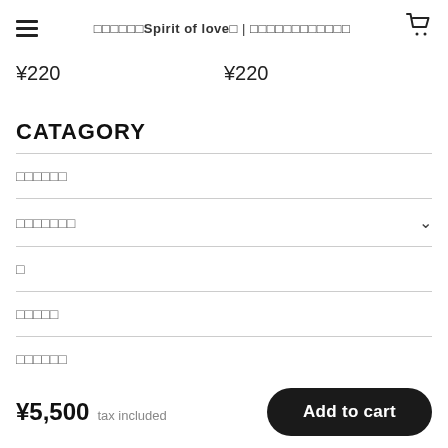□□□□□□Spirit of love□ | □□□□□□□□□□□□
¥220   ¥220
CATAGORY
□□□□□□
□□□□□□□
□
□□□□□
□□□□□□
¥5,500  tax included
Add to cart